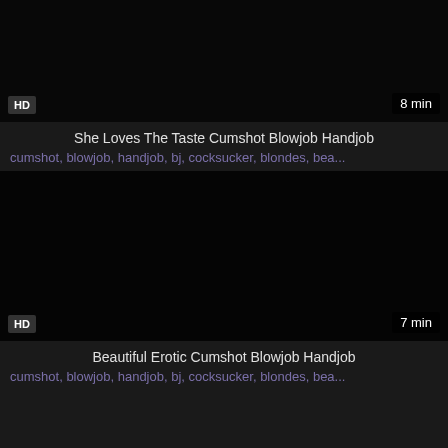[Figure (screenshot): Dark video thumbnail for first video with HD badge and 8 min duration label]
She Loves The Taste Cumshot Blowjob Handjob
cumshot, blowjob, handjob, bj, cocksucker, blondes, bea...
[Figure (screenshot): Dark video thumbnail for second video with HD badge and 7 min duration label]
Beautiful Erotic Cumshot Blowjob Handjob
cumshot, blowjob, handjob, bj, cocksucker, blondes, bea...